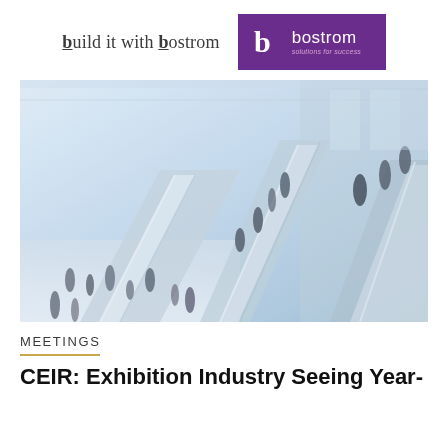build it with bostrom | bostrom solutions for success
[Figure (photo): Interior of a convention center or exhibition hall with escalators and people walking, blurred motion, light blue and white tones.]
MEETINGS
CEIR: Exhibition Industry Seeing Year-